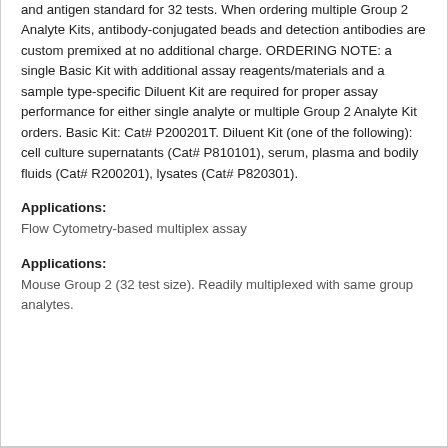and antigen standard for 32 tests. When ordering multiple Group 2 Analyte Kits, antibody-conjugated beads and detection antibodies are custom premixed at no additional charge. ORDERING NOTE: a single Basic Kit with additional assay reagents/materials and a sample type-specific Diluent Kit are required for proper assay performance for either single analyte or multiple Group 2 Analyte Kit orders. Basic Kit: Cat# P200201T. Diluent Kit (one of the following): cell culture supernatants (Cat# P810101), serum, plasma and bodily fluids (Cat# R200201), lysates (Cat# P820301).
Applications:
Flow Cytometry-based multiplex assay
Applications:
Mouse Group 2 (32 test size). Readily multiplexed with same group analytes.